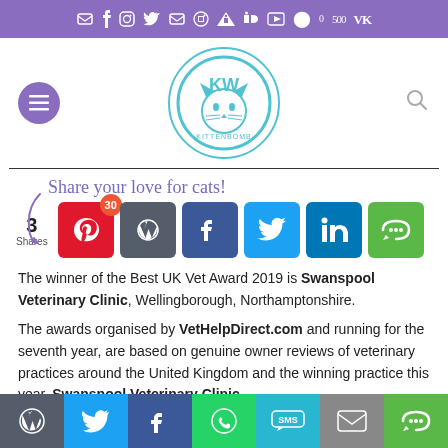Social sharing bar with icons (email, facebook, instagram, twitter, email, pinterest, rss, linkedin, youtube, vk)
[Figure (logo): Kittenbomb website logo: circular teal border with a cat face illustration and 'KW' text / 'KITTENBOMB' below]
Share your love for cats!
3 Shares — sharing buttons: Pinterest (30), WordPress, Facebook, Twitter, LinkedIn, More
The winner of the Best UK Vet Award 2019 is Swanspool Veterinary Clinic, Wellingborough, Northamptonshire.
The awards organised by VetHelpDirect.com and running for the seventh year, are based on genuine owner reviews of veterinary practices around the United Kingdom and the winning practice this year, Swanspool Veterinary Clinic,
Bottom share bar: WordPress, Twitter, Facebook, WhatsApp, SMS, Email, More